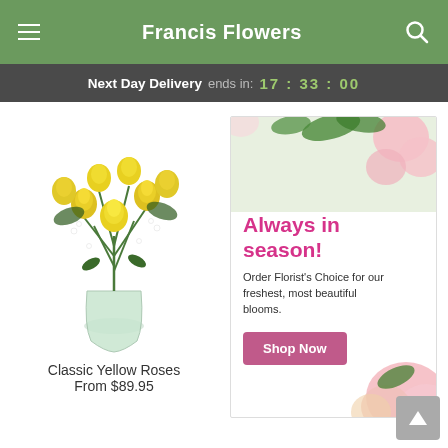Francis Flowers
Next Day Delivery ends in: 17 : 33 : 00
[Figure (photo): Bouquet of classic yellow roses in a glass vase with white baby's breath and green foliage]
Classic Yellow Roses
From $89.95
[Figure (infographic): Promotional banner with pink flowers reading 'Always in season! Order Florist's Choice for our freshest, most beautiful blooms.' with a pink Shop Now button]